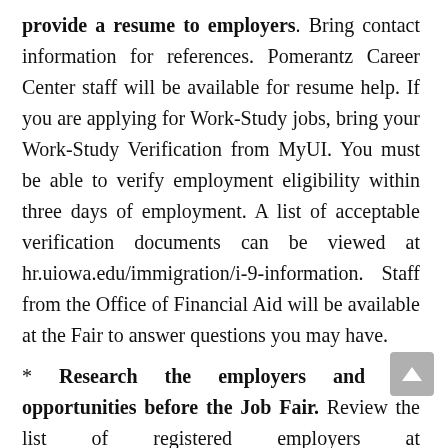provide a resume to employers. Bring contact information for references. Pomerantz Career Center staff will be available for resume help. If you are applying for Work-Study jobs, bring your Work-Study Verification from MyUI. You must be able to verify employment eligibility within three days of employment. A list of acceptable verification documents can be viewed at hr.uiowa.edu/immigration/i-9-information. Staff from the Office of Financial Aid will be available at the Fair to answer questions you may have.
* Research the employers and job opportunities before the Job Fair. Review the list of registered employers at https://careers.uiowa.edu/student-employment-job-fair
* Be aware of the Student Job Fair hours of